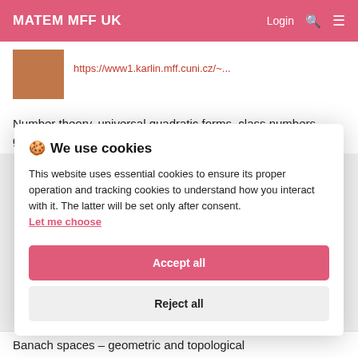MATEM MFF UK
[Figure (photo): Portrait photo of a person, partially visible]
https://www1.karlin.mff.cuni.cz/~...
Number theory, universal quadratic forms, class numbers, generalized continued fractions,
🍪 We use cookies
This website uses essential cookies to ensure its proper operation and tracking cookies to understand how you interact with it. The latter will be set only after consent.
Let me choose
Accept all
Reject all
Banach spaces – geometric and topological